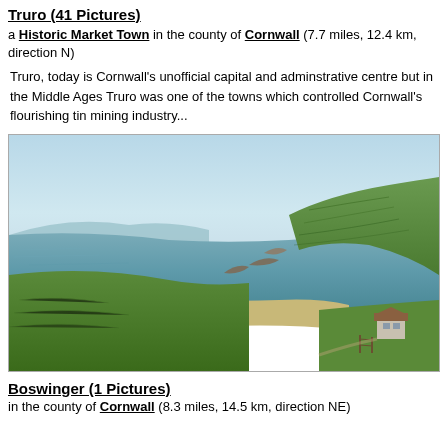Truro (41 Pictures)
a Historic Market Town in the county of Cornwall (7.7 miles, 12.4 km, direction N)
Truro, today is Cornwall's unofficial capital and adminstrative centre but in the Middle Ages Truro was one of the towns which controlled Cornwall's flourishing tin mining industry...
[Figure (photo): Coastal landscape photograph showing a rocky cove with sandy beach, green rolling hills with hedgerows, and a cottage in the lower right. The sea stretches to rocky headlands under a pale blue sky. This is a scenic view of the Cornwall coastline near Boswinger.]
Boswinger (1 Pictures)
in the county of Cornwall (8.3 miles, 14.5 km, direction NE)